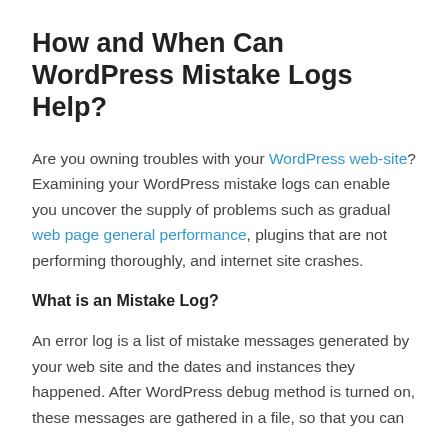How and When Can WordPress Mistake Logs Help?
Are you owning troubles with your WordPress web-site? Examining your WordPress mistake logs can enable you uncover the supply of problems such as gradual web page general performance, plugins that are not performing thoroughly, and internet site crashes.
What is an Mistake Log?
An error log is a list of mistake messages generated by your web site and the dates and instances they happened. After WordPress debug method is turned on, these messages are gathered in a file, so that you can